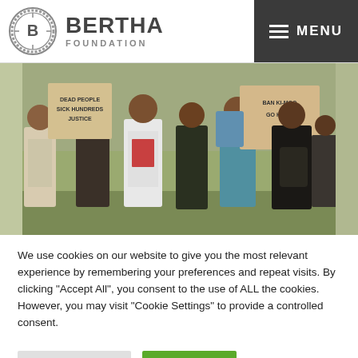[Figure (logo): Bertha Foundation logo: circular emblem with letter B and decorative pattern, with BERTHA FOUNDATION text]
[Figure (photo): Protest photo showing a group of people holding signs reading 'DEAD PEOPLE SICK HUNDREDS JUSTICE' and 'BAN KI-MOON GO HOME']
We use cookies on our website to give you the most relevant experience by remembering your preferences and repeat visits. By clicking "Accept All", you consent to the use of ALL the cookies. However, you may visit "Cookie Settings" to provide a controlled consent.
Cookie Settings
Accept All